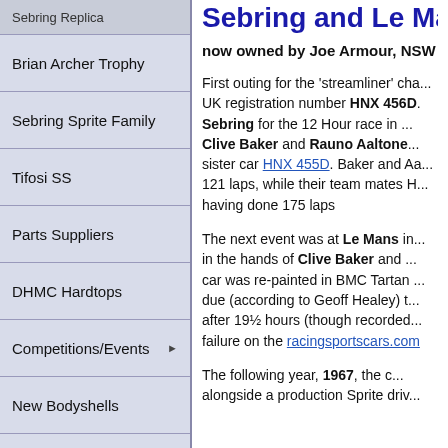Sebring Replica
Brian Archer Trophy
Sebring Sprite Family
Tifosi SS
Parts Suppliers
DHMC Hardtops
Competitions/Events ▶
New Bodyshells
The Sprite Room
Marque One
Personalities ▶
Technical ▶
Sebring and Le Ma...
now owned by Joe Armour, NSW
First outing for the 'streamliner' cha... UK registration number HNX 456D. Sebring for the 12 Hour race in ... Clive Baker and Rauno Aaltone... sister car HNX 455D. Baker and Aa... 121 laps, while their team mates H... having done 175 laps
The next event was at Le Mans i... in the hands of Clive Baker and ... car was re-painted in BMC Tartan ... due (according to Geoff Healey) t... after 19½ hours (though recorded... failure on the racingsportscars.com
The following year, 1967, the c... alongside a production Sprite driv...